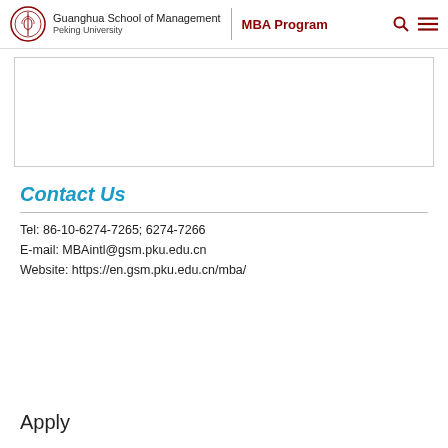Guanghua School of Management Peking University | MBA Program
[Figure (other): Empty content box with border]
Contact Us
Tel: 86-10-6274-7265; 6274-7266
E-mail: MBAintl@gsm.pku.edu.cn
Website: https://en.gsm.pku.edu.cn/mba/
Apply